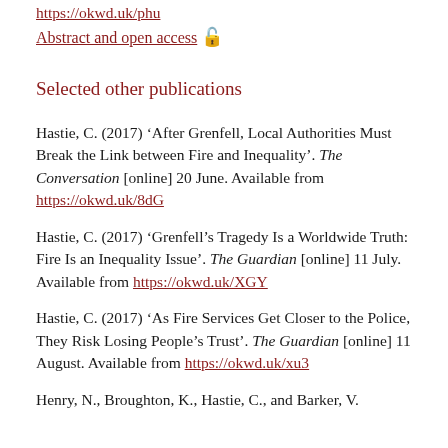https://okward.phd
Abstract and open access 🔓
Selected other publications
Hastie, C. (2017) 'After Grenfell, Local Authorities Must Break the Link between Fire and Inequality'. The Conversation [online] 20 June. Available from https://okwd.uk/8dG
Hastie, C. (2017) 'Grenfell's Tragedy Is a Worldwide Truth: Fire Is an Inequality Issue'. The Guardian [online] 11 July. Available from https://okwd.uk/XGY
Hastie, C. (2017) 'As Fire Services Get Closer to the Police, They Risk Losing People's Trust'. The Guardian [online] 11 August. Available from https://okwd.uk/xu3
Henry, N., Broughton, K., Hastie, C., and Barker, V.